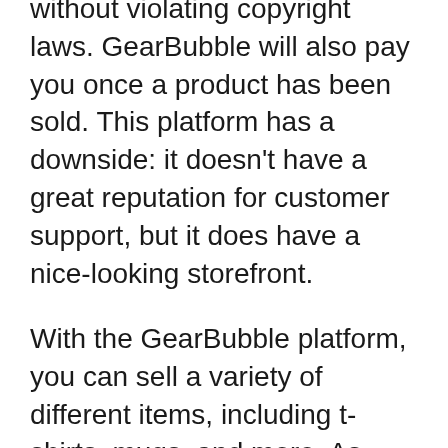without violating copyright laws. GearBubble will also pay you once a product has been sold. This platform has a downside: it doesn't have a great reputation for customer support, but it does have a nice-looking storefront.
With the GearBubble platform, you can sell a variety of different items, including t-shirts, mugs, and more. As long as there is a demand for your products, you can launch a campaign with a high profit margin and monetize it with affiliate programs. Unlike other crowdfunding platforms, GearBubble also produces products and sends them to buyers automatically. You can't customize your designs. You have to upload your artwork and then wait for the product to be